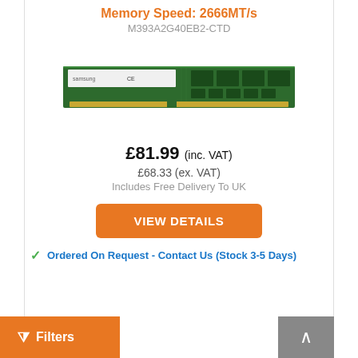Memory Speed: 2666MT/s
M393A2G40EB2-CTD
[Figure (photo): Samsung DDR4 RAM module (green PCB, rectangular DIMM stick) shown horizontally]
£81.99 (inc. VAT)
£68.33 (ex. VAT)
Includes Free Delivery To UK
VIEW DETAILS
Ordered On Request - Contact Us (Stock 3-5 Days)